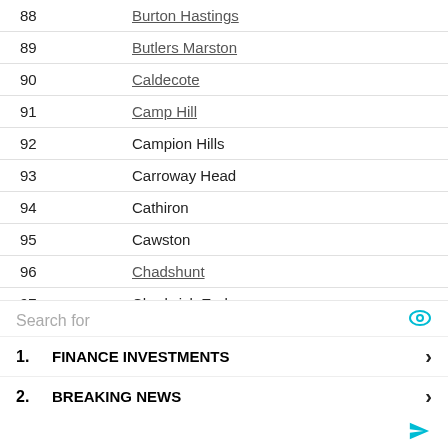| # | Name |
| --- | --- |
| 88 | Burton Hastings |
| 89 | Butlers Marston |
| 90 | Caldecote |
| 91 | Camp Hill |
| 92 | Campion Hills |
| 93 | Carroway Head |
| 94 | Cathiron |
| 95 | Cawston |
| 96 | Chadshunt |
| 97 | Chadwick End |
| 98 | Chapel End |
| 99 | Chapel Green |
| 100 | Charlecote |
Search for
1. FINANCE INVESTMENTS
2. BREAKING NEWS